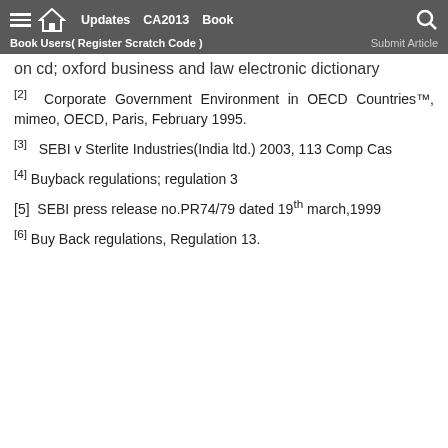Updates  CA2013  Book  Book Users( Register Scratch Code )  Submit Article
on cd; oxford business and law electronic dictionary
[2]  Corporate Government Environment in OECD Countries™, mimeo, OECD, Paris, February 1995.
[3]  SEBI v Sterlite Industries(India ltd.) 2003, 113 Comp Cas
[4] Buyback regulations; regulation 3
[5]  SEBI press release no.PR74/79 dated 19th march,1999
[6] Buy Back regulations, Regulation 13.